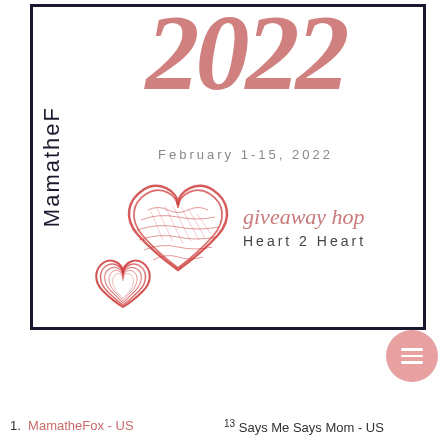[Figure (illustration): Heart 2 Heart Giveaway Hop banner for February 1-15, 2022. Shows large script '2022' in dusty rose/red, date 'February 1-15, 2022', two decorative red hand-drawn hearts, cursive 'giveaway hop' text in pink, and 'Heart 2 Heart' subtitle. 'MamatheF...' vertical text on the left side.]
1. MamatheFox - US
13 Says Me Says Mom - US